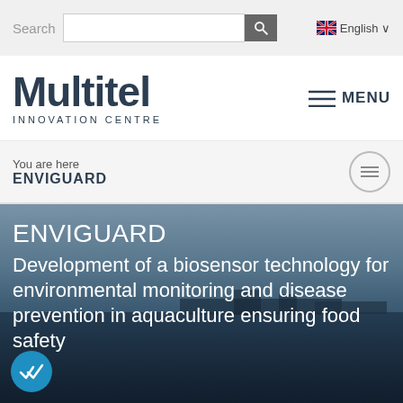Search  [input]  [search button]  English
Multitel INNOVATION CENTRE
MENU
You are here
ENVIGUARD
[Figure (screenshot): Hero banner with aquaculture/harbor background image showing ENVIGUARD title and subtitle: Development of a biosensor technology for environmental monitoring and disease prevention in aquaculture ensuring food safety]
ENVIGUARD
Development of a biosensor technology for environmental monitoring and disease prevention in aquaculture ensuring food safety